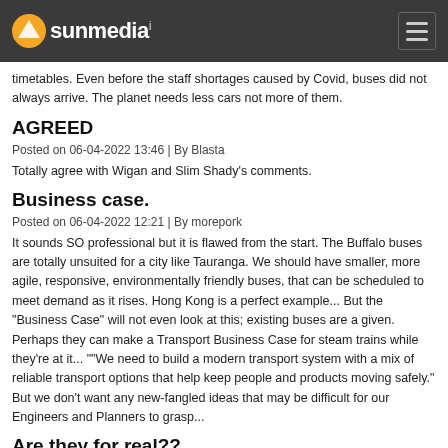sunmedia
timetables. Even before the staff shortages caused by Covid, buses did not always arrive. The planet needs less cars not more of them.
AGREED
Posted on 06-04-2022 13:46 | By Blasta
Totally agree with Wigan and Slim Shady's comments.
Business case.
Posted on 06-04-2022 12:21 | By morepork
It sounds SO professional but it is flawed from the start. The Buffalo buses are totally unsuited for a city like Tauranga. We should have smaller, more agile, responsive, environmentally friendly buses, that can be scheduled to meet demand as it rises. Hong Kong is a perfect example... But the "Business Case" will not even look at this; existing buses are a given. Perhaps they can make a Transport Business Case for steam trains while they're at it... ""We need to build a modern transport system with a mix of reliable transport options that help keep people and products moving safely." But we don't want any new-fangled ideas that may be difficult for our Engineers and Planners to grasp...
Are they for real??
Posted on 06-04-2022 13:45 | By...